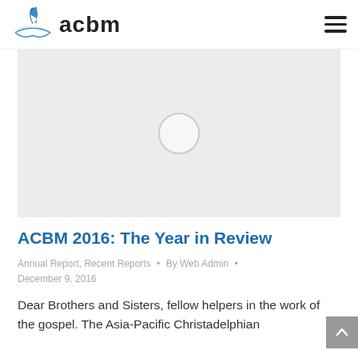acbm
[Figure (photo): Hero image placeholder with light gray background and a faint circle in the center]
ACBM 2016: The Year in Review
Annual Report, Recent Reports • By Web Admin • December 9, 2016
Dear Brothers and Sisters, fellow helpers in the work of the gospel. The Asia-Pacific Christadelphian